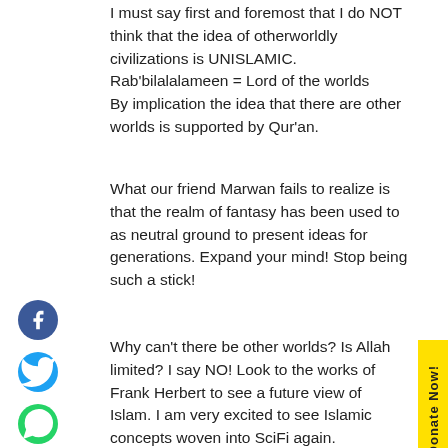I must say first and foremost that I do NOT think that the idea of otherworldly civilizations is UNISLAMIC. Rab'bilalalameen = Lord of the worlds By implication the idea that there are other worlds is supported by Qur'an.
What our friend Marwan fails to realize is that the realm of fantasy has been used to as neutral ground to present ideas for generations. Expand your mind! Stop being such a stick!
Why can't there be other worlds? Is Allah limited? I say NO! Look to the works of Frank Herbert to see a future view of Islam. I am very excited to see Islamic concepts woven into SciFi again.